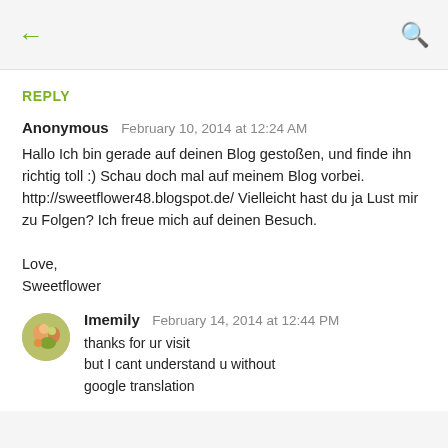← (back) Q (search)
REPLY
Anonymous  February 10, 2014 at 12:24 AM

Hallo Ich bin gerade auf deinen Blog gestoßen, und finde ihn richtig toll :) Schau doch mal auf meinem Blog vorbei. http://sweetflower48.blogspot.de/ Vielleicht hast du ja Lust mir zu Folgen? Ich freue mich auf deinen Besuch.

Love,
Sweetflower
Imemily  February 14, 2014 at 12:44 PM

thanks for ur visit
but I cant understand u without google translation